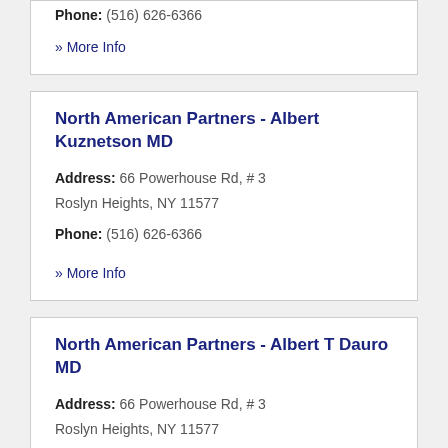Phone: (516) 626-6366
» More Info
North American Partners - Albert Kuznetson MD
Address: 66 Powerhouse Rd, # 3 Roslyn Heights, NY 11577
Phone: (516) 626-6366
» More Info
North American Partners - Albert T Dauro MD
Address: 66 Powerhouse Rd, # 3 Roslyn Heights, NY 11577